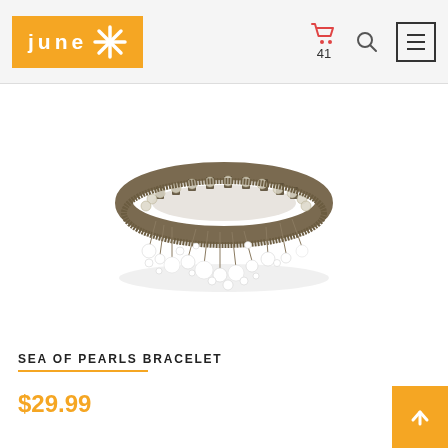[Figure (logo): June store logo — orange/yellow rectangle with white lowercase text 'june' and a snowflake/asterisk symbol]
[Figure (photo): Pearl and crystal bracelet — antique gold tone band with rows of white pearls and crystal beads dangling from the frame, photographed on white background]
SEA OF PEARLS BRACELET
$29.99